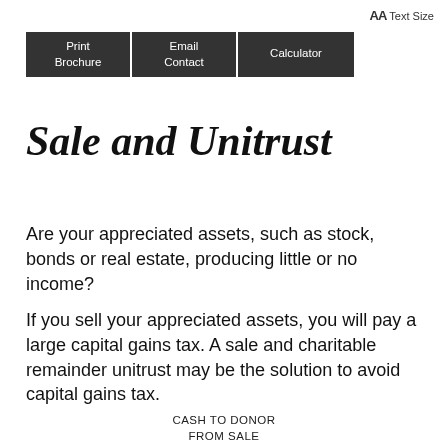AA Text Size
[Figure (screenshot): Navigation bar with three buttons: Print Brochure, Email Contact, Calculator]
Sale and Unitrust
Are your appreciated assets, such as stock, bonds or real estate, producing little or no income?
If you sell your appreciated assets, you will pay a large capital gains tax. A sale and charitable remainder unitrust may be the solution to avoid capital gains tax.
CASH TO DONOR
FROM SALE